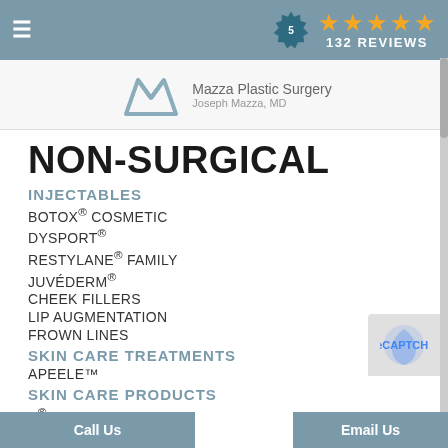≡  ★★★★★ 132 REVIEWS  (badge: 5)
[Figure (logo): Mazza Plastic Surgery logo with mountain M graphic, text: Mazza Plastic Surgery, Joseph Mazza, MD]
NON-SURGICAL
INJECTABLES
BOTOX® COSMETIC
DYSPORT®
RESTYLANE® FAMILY
JUVÉDERM®
CHEEK FILLERS
LIP AUGMENTATION
FROWN LINES
SKIN CARE TREATMENTS
APEELE™
SKIN CARE PRODUCTS
...S®
Call Us   |   Email Us